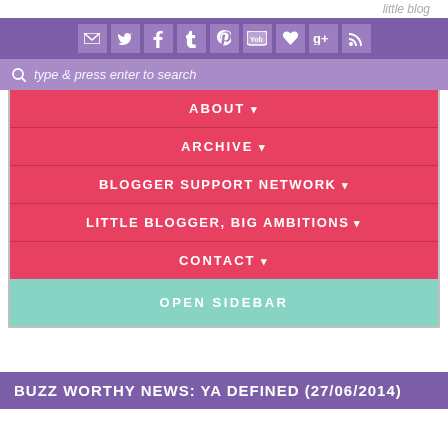little blog
[Figure (screenshot): Social media icons bar with email, Twitter, Facebook, Tumblr, Pinterest, YouTube, heart/Bloglovin, Google+, RSS icons on purple background]
type & press enter to search
ABOUT ▾
ARCHIVE ▾
BLOGGER SUPPORT NETWORK ▾
LITTLE BLOGGER, BIG AMBITIONS ▾
CONTACT ▾
OPEN SIDEBAR
BUZZ WORTHY NEWS: YA DEFINED (27/06/2014)